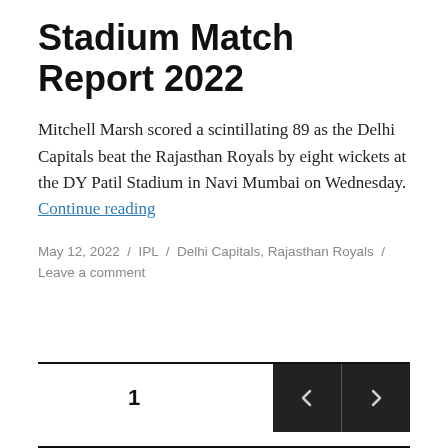Stadium Match Report 2022
Mitchell Marsh scored a scintillating 89 as the Delhi Capitals beat the Rajasthan Royals by eight wickets at the DY Patil Stadium in Navi Mumbai on Wednesday. Continue reading
May 12, 2022 / IPL / Delhi Capitals, Rajasthan Royals / Leave a comment
1